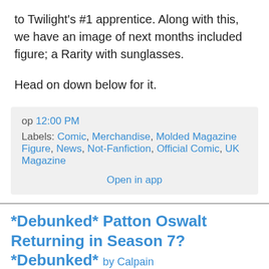to Twilight's #1 apprentice. Along with this, we have an image of next months included figure; a Rarity with sunglasses.
Head on down below for it.
op 12:00 PM
Labels: Comic, Merchandise, Molded Magazine Figure, News, Not-Fanfiction, Official Comic, UK Magazine
Open in app
*Debunked* Patton Oswalt Returning in Season 7? *Debunked* by Calpain
[Figure (photo): A cropped photo of a My Little Pony figure (Rainbow Dash) with a close button overlay]